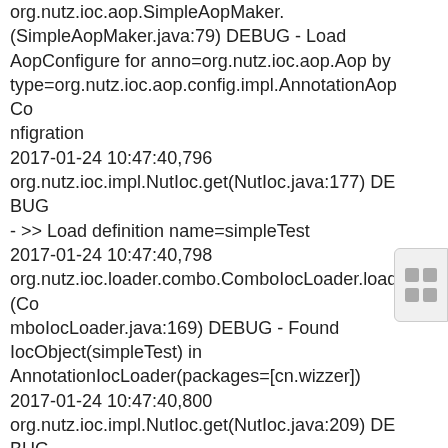org.nutz.ioc.aop.SimpleAopMaker.(SimpleAopMaker.java:79) DEBUG - Load AopConfigure for anno=org.nutz.ioc.aop.Aop by type=org.nutz.ioc.aop.config.impl.AnnotationAopConfiguration
2017-01-24 10:47:40,796 org.nutz.ioc.impl.NutIoc.get(NutIoc.java:177) DEBUG - >> Load definition name=simpleTest
2017-01-24 10:47:40,798 org.nutz.ioc.loader.combo.ComboIocLoader.load(ComboIocLoader.java:169) DEBUG - Found IocObject(simpleTest) in AnnotationIocLoader(packages=[cn.wizzer])
2017-01-24 10:47:40,800 org.nutz.ioc.impl.NutIoc.get(NutIoc.java:209) DEBUG - >> Make...'simpleTest'<class cn.wizzer.modules.SimpleTest>
2017-01-24 10:47:40,800